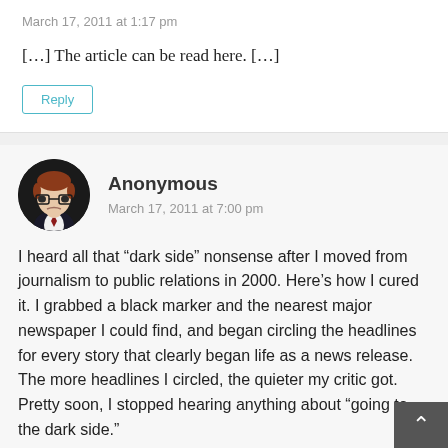March 17, 2011 at 1:17 pm
[…] The article can be read here. […]
Reply
Anonymous
March 17, 2011 at 7:00 pm
I heard all that “dark side” nonsense after I moved from journalism to public relations in 2000. Here’s how I cured it. I grabbed a black marker and the nearest major newspaper I could find, and began circling the headlines for every story that clearly began life as a news release. The more headlines I circled, the quieter my critic got. Pretty soon, I stopped hearing anything about “going to the dark side.”
Here is journalism’s dirty little secret: The vast majorit